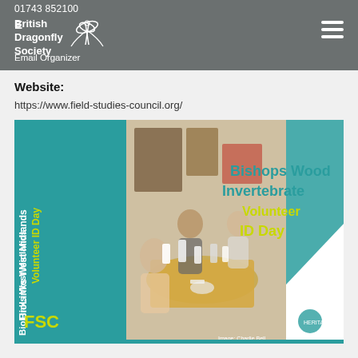01743 852100
British Dragonfly Society
Email Organizer
Website:
https://www.field-studies-council.org/
[Figure (photo): Promotional banner for 'BioLinks West Midlands Volunteer ID Day' at Bishops Wood Invertebrate Volunteer ID Day, featuring photo of people identifying invertebrates at microscopes around a table. FSC logo visible.]